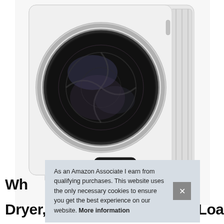[Figure (photo): White front-load compact dryer with round door, dark drum interior visible through glass, digital display panel showing '150' in red/blue digits with control buttons, set against white/light gray background]
As an Amazon Associate I earn from qualifying purchases. This website uses the only necessary cookies to ensure you get the best experience on our website. More information
Wh
Dryer, Dom, 2.65 cu ft Front Load